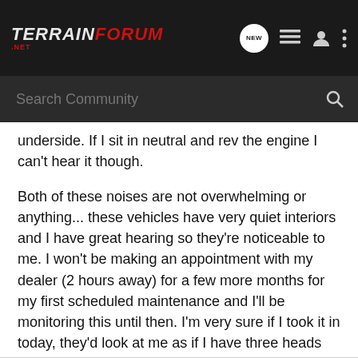TERRAIN FORUM .NET
underside. If I sit in neutral and rev the engine I can't hear it though.
Both of these noises are not overwhelming or anything... these vehicles have very quiet interiors and I have great hearing so they're noticeable to me. I won't be making an appointment with my dealer (2 hours away) for a few more months for my first scheduled maintenance and I'll be monitoring this until then. I'm very sure if I took it in today, they'd look at me as if I have three heads and tell me it's normal. If they had another V6 in stock I'd take that one for a test drive, but they don't.
Thanks!